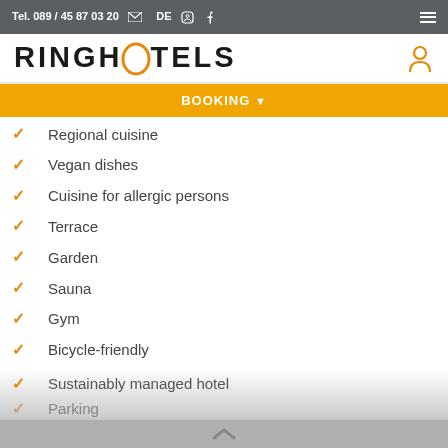Tel. 089 / 45 87 03 20  DE
[Figure (logo): Ringhotels logo with orange O letter]
BOOKING
Regional cuisine
Vegan dishes
Cuisine for allergic persons
Terrace
Garden
Sauna
Gym
Bicycle-friendly
E-Bike & charging station
Hiker-friendly
Motorcycle-friendly
Handicapped accessible rooms
Sustainably managed hotel
Parking